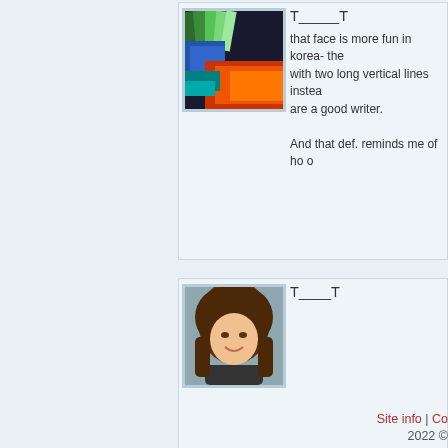[Figure (photo): Avatar image showing rainbow-colored paint or feathers]
T_____T
that face is more fun in korea- the with two long vertical lines inste are a good writer.
And that def. reminds me of ho o
[Figure (photo): Avatar image of a young woman with brown hair, smiling]
T____T
Post a comme
You have to log in before you p
Site info | Co
2022 ©